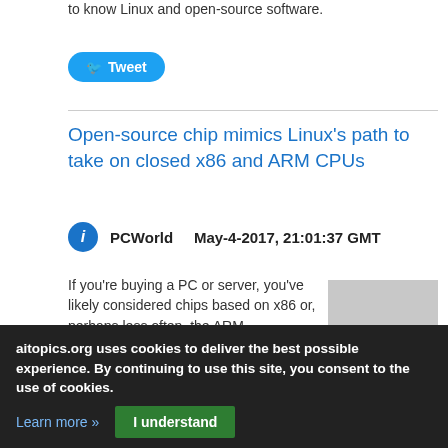to know Linux and open-source software.
[Figure (other): Tweet button with Twitter bird icon]
Open-source chip mimics Linux's path to take on closed x86 and ARM CPUs
PCWorld    May-4-2017, 21:01:37 GMT
If you're buying a PC or server, you've likely considered chips based on x86 or, perhaps less often, the ARM architecture. But like Linux in software, an open-source chip project is out to break the dominance of proprietary chips offered by Intel, AMD, and ARM. The RISC-V open-source architecture, created by researchers at the University
aitopics.org uses cookies to deliver the best possible experience. By continuing to use this site, you consent to the use of cookies.
Learn more »   I understand